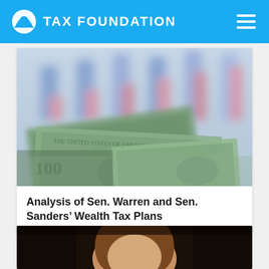TAX FOUNDATION
[Figure (photo): Close-up photo of US dollar bills fanned out with a blurred bar chart in the background]
Analysis of Sen. Warren and Sen. Sanders' Wealth Tax Plans
[Figure (photo): Partial photo of a person with brown hair against a dark background (bottom of page, cropped)]